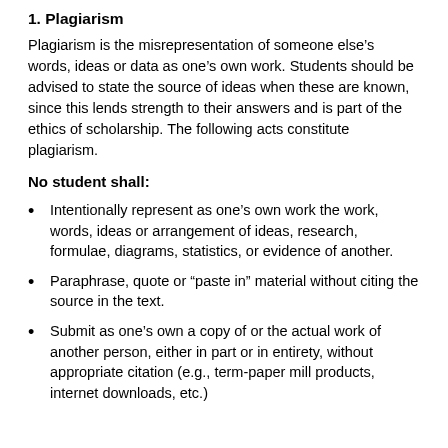1. Plagiarism
Plagiarism is the misrepresentation of someone else’s words, ideas or data as one’s own work. Students should be advised to state the source of ideas when these are known, since this lends strength to their answers and is part of the ethics of scholarship. The following acts constitute plagiarism.
No student shall:
Intentionally represent as one’s own work the work, words, ideas or arrangement of ideas, research, formulae, diagrams, statistics, or evidence of another.
Paraphrase, quote or “paste in” material without citing the source in the text.
Submit as one’s own a copy of or the actual work of another person, either in part or in entirety, without appropriate citation (e.g., term-paper mill products, internet downloads, etc.).